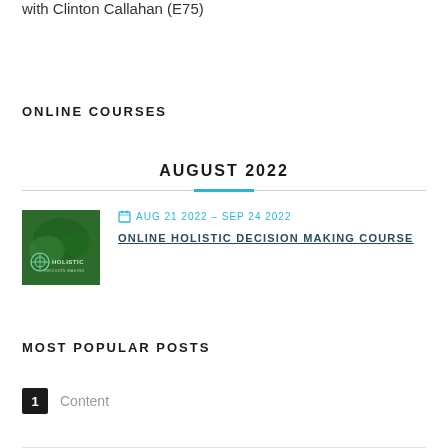with Clinton Callahan (E75)
ONLINE COURSES
AUGUST 2022
[Figure (photo): Thumbnail image for the Online Holistic Decision Making Course, showing aerial green landscape with 'HOLISTIC DECISION MAKING' text and logo]
AUG 21 2022 – SEP 24 2022
ONLINE HOLISTIC DECISION MAKING COURSE
MOST POPULAR POSTS
1 Content